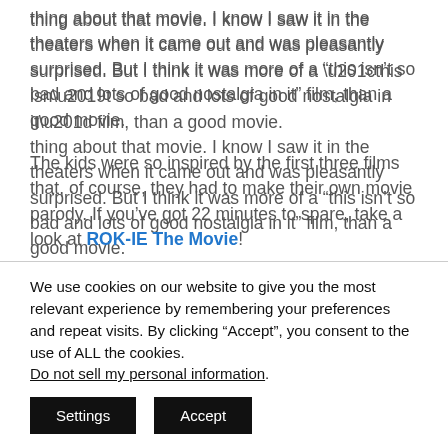thing about that movie. I know I saw it in the theaters when it came out and was pleasantly surprised. But I think it was more of a “this isn’t so bad and lots of good nostalgia in it” film, than a good movie.
The kids were so inspired by the first three films that, of course, they had to make their own movie parody. If you’ve got 22 minutes to spare, take a look at ROK-IE The Movie!
We use cookies on our website to give you the most relevant experience by remembering your preferences and repeat visits. By clicking “Accept”, you consent to the use of ALL the cookies. Do not sell my personal information.